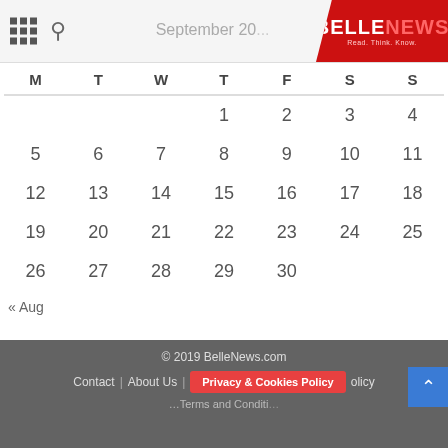September 2016 – BELLENEWS
| M | T | W | T | F | S | S |
| --- | --- | --- | --- | --- | --- | --- |
|  |  |  | 1 | 2 | 3 | 4 |
| 5 | 6 | 7 | 8 | 9 | 10 | 11 |
| 12 | 13 | 14 | 15 | 16 | 17 | 18 |
| 19 | 20 | 21 | 22 | 23 | 24 | 25 |
| 26 | 27 | 28 | 29 | 30 |  |  |
« Aug
© 2019 BelleNews.com | Contact | About Us | Privacy & Cookies Policy | Policy | Terms and Conditions